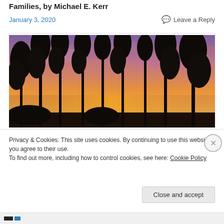Families, by Michael E. Kerr
January 3, 2020   Leave a Reply
[Figure (photo): Silhouette of tall pine trees against a vivid orange, pink, and purple sunset sky]
Privacy & Cookies: This site uses cookies. By continuing to use this website, you agree to their use.
To find out more, including how to control cookies, see here: Cookie Policy
Close and accept